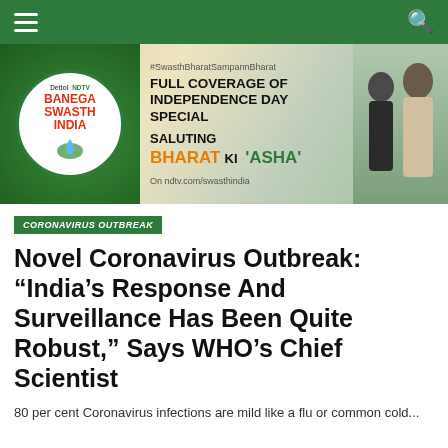NDTV navigation bar with hamburger menu and search icon
[Figure (illustration): Dettol NDTV Banega Swasth India banner advertisement. Left side: circular logo with 'Dettol NDTV BANEGA SWASTH INDIA' text and water drop hand graphic on green background. Right side: hashtag #SwasthBharatSampannBharat, 'FULL COVERAGE OF INDEPENDENCE DAY SPECIAL', 'SALUTING BHARAT KI ASHA', 'On ndtv.com/swasthindia', with two male figures on right edge.]
CORONAVIRUS OUTBREAK
Novel Coronavirus Outbreak: “India’s Response And Surveillance Has Been Quite Robust,” Says WHO’s Chief Scientist
80 per cent Coronavirus infections are mild like a flu or common cold...